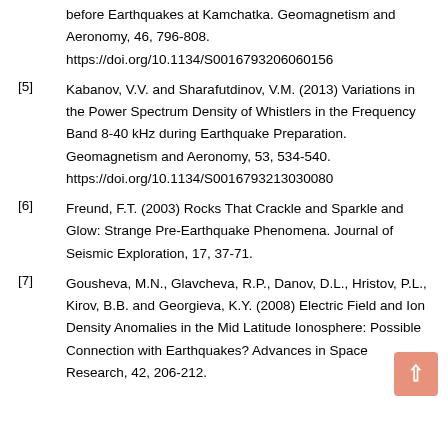before Earthquakes at Kamchatka. Geomagnetism and Aeronomy, 46, 796-808. https://doi.org/10.1134/S0016793206060156
[5] Kabanov, V.V. and Sharafutdinov, V.M. (2013) Variations in the Power Spectrum Density of Whistlers in the Frequency Band 8-40 kHz during Earthquake Preparation. Geomagnetism and Aeronomy, 53, 534-540. https://doi.org/10.1134/S0016793213030080
[6] Freund, F.T. (2003) Rocks That Crackle and Sparkle and Glow: Strange Pre-Earthquake Phenomena. Journal of Seismic Exploration, 17, 37-71.
[7] Gousheva, M.N., Glavcheva, R.P., Danov, D.L., Hristov, P.L., Kirov, B.B. and Georgieva, K.Y. (2008) Electric Field and Ion Density Anomalies in the Mid Latitude Ionosphere: Possible Connection with Earthquakes? Advances in Space Research, 42, 206-212.